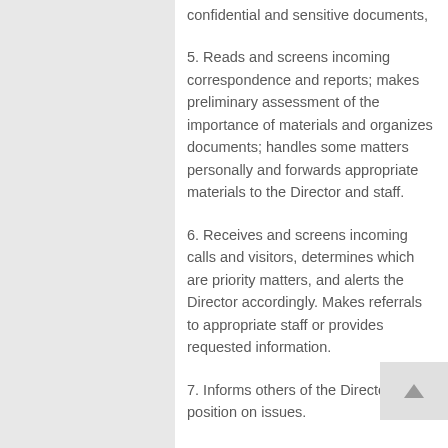confidential and sensitive documents,
5. Reads and screens incoming correspondence and reports; makes preliminary assessment of the importance of materials and organizes documents; handles some matters personally and forwards appropriate materials to the Director and staff.
6. Receives and screens incoming calls and visitors, determines which are priority matters, and alerts the Director accordingly. Makes referrals to appropriate staff or provides requested information.
7. Informs others of the Director’s position on issues.
8. Composes letters and memoranda (in English or Arabic) in response to inquiries.
9. Acts as liaison between the Director, subordinates or others, by transmitting directives, instructions and assignments and following up on the status of